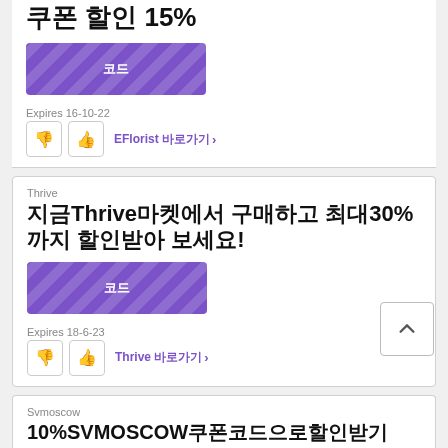쿠폰 할인 15%
[Figure (other): Purple striped coupon button with text '코드']
Expires 16-10-22
EFlorist 바로가기 >
Thrive
지금 Thrive마켓에서 구매하고 최대30%까지 할인받아 보세요!
[Figure (other): Purple striped coupon button with text '코드']
Expires 18-6-23
Thrive 바로가기 >
Svmoscow
10%SVMOSCOW쿠폰코드으로할인받기